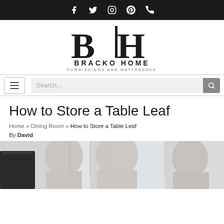Social icons: Facebook, Twitter, Instagram, Pinterest, Phone
[Figure (logo): Bracko Home Furnishings and Mattresses logo with stylized BH monogram]
[Figure (screenshot): Navigation bar with hamburger menu and search box]
How to Store a Table Leaf
Home » Dining Room » How to Store a Table Leaf
By David
[Figure (photo): Dining room chairs with light grey upholstery in front of large windows]